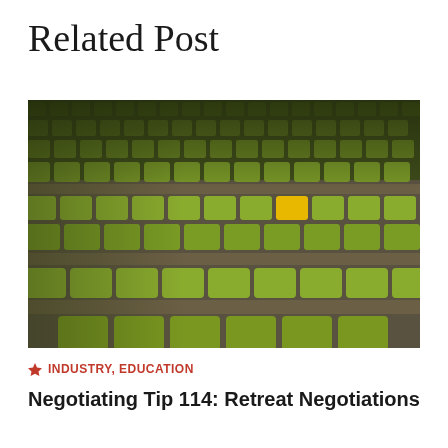Related Post
[Figure (photo): Rows of green stadium seats viewed from an angle, with one yellow seat standing out among the green ones]
🔥 INDUSTRY, EDUCATION
Negotiating Tip 114: Retreat Negotiations